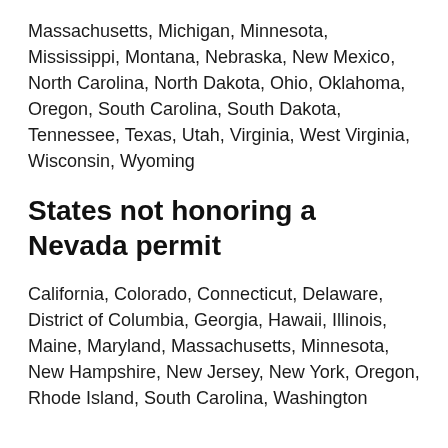Massachusetts, Michigan, Minnesota, Mississippi, Montana, Nebraska, New Mexico, North Carolina, North Dakota, Ohio, Oklahoma, Oregon, South Carolina, South Dakota, Tennessee, Texas, Utah, Virginia, West Virginia, Wisconsin, Wyoming
States not honoring a Nevada permit
California, Colorado, Connecticut, Delaware, District of Columbia, Georgia, Hawaii, Illinois, Maine, Maryland, Massachusetts, Minnesota, New Hampshire, New Jersey, New York, Oregon, Rhode Island, South Carolina, Washington